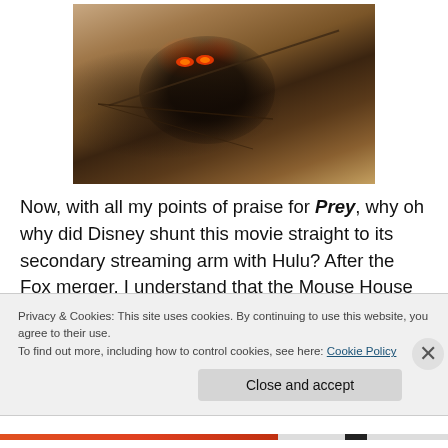[Figure (photo): A person with dark face paint and glowing red eyes drawing a bow, set against a warm-toned blurred background. Scene from the movie Prey.]
Now, with all my points of praise for Prey, why oh why did Disney shunt this movie straight to its secondary streaming arm with Hulu? After the Fox merger, I understand that the Mouse House doesn't quite see the
Privacy & Cookies: This site uses cookies. By continuing to use this website, you agree to their use.
To find out more, including how to control cookies, see here: Cookie Policy
Close and accept